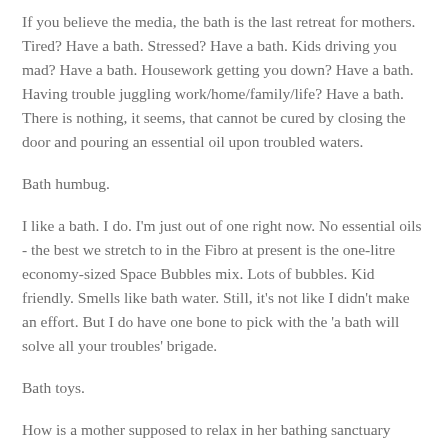If you believe the media, the bath is the last retreat for mothers. Tired? Have a bath. Stressed? Have a bath. Kids driving you mad? Have a bath. Housework getting you down? Have a bath. Having trouble juggling work/home/family/life? Have a bath. There is nothing, it seems, that cannot be cured by closing the door and pouring an essential oil upon troubled waters.
Bath humbug.
I like a bath. I do. I'm just out of one right now. No essential oils - the best we stretch to in the Fibro at present is the one-litre economy-sized Space Bubbles mix. Lots of bubbles. Kid friendly. Smells like bath water. Still, it's not like I didn't make an effort. But I do have one bone to pick with the 'a bath will solve all your troubles' brigade.
Bath toys.
How is a mother supposed to relax in her bathing sanctuary when she is sharing head-room with a small flotilla of dank boat? Her sink, her soap, and theights spell odd bird land